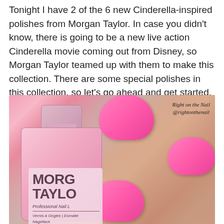Tonight I have 2 of the 6 new Cinderella-inspired polishes from Morgan Taylor. In case you didn't know, there is going to be a new live action Cinderella movie coming out from Disney, so Morgan Taylor teamed up with them to make this collection. There are some special polishes in this collection, so let's go ahead and get started.
[Figure (photo): Close-up photo of a hand holding a pink Morgan Taylor Professional Nail Lacquer bottle. The nails are painted bright pink. The bottle label reads MORGAN TAYLOR Professional Nail Lacquer / Vernis à Ongles / Esmalte / Nagellack / 15ml. Watermark reads 'Right on the Nail @rightonthenail'.]